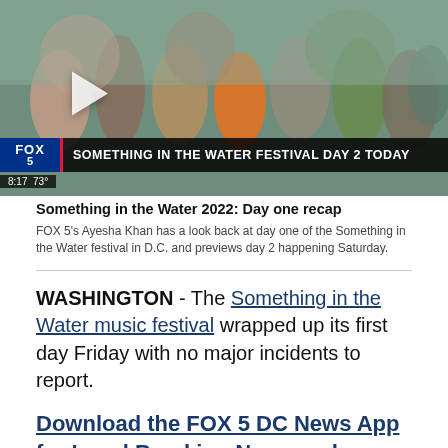[Figure (screenshot): FOX 5 news video thumbnail showing a crowd at a music festival with a lower-third graphic reading 'SOMETHING IN THE WATER FESTIVAL DAY 2 TODAY' and time/temperature 8:17 73°]
Something in the Water 2022: Day one recap
FOX 5's Ayesha Khan has a look back at day one of the Something in the Water festival in D.C. and previews day 2 happening Saturday.
WASHINGTON - The Something in the Water music festival wrapped up its first day Friday with no major incidents to report.
Download the FOX 5 DC News App for Local Breaking News and Weather
Day one of the festival featured a jam-packed lineup of performances, including sets from Usher, Anderson